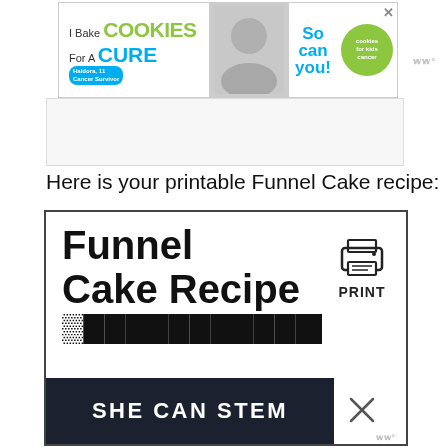[Figure (infographic): Advertisement banner: 'I Bake COOKIES For A CURE' with Haldora, 11 Cancer Survivor badge, 'So can you!' text, and Cookies for Kids Cancer circular logo. Close button X in top right.]
Here is your printable Funnel Cake recipe:
[Figure (infographic): Recipe card with border showing 'Funnel Cake Recipe' title in large bold text, a print icon with 'PRINT' label on the right side, and a partial subtitle line. Overlaid at bottom with dark banner reading 'SHE CAN STEM' with an X close button and watermark.]